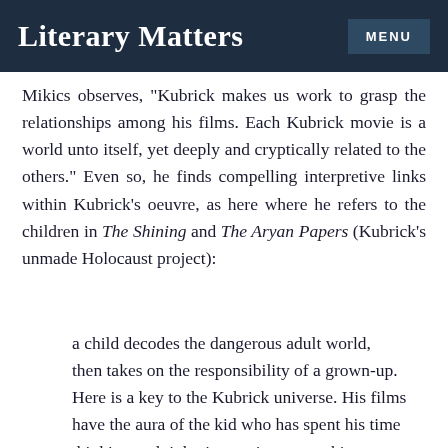Literary Matters   MENU
Mikics observes, "Kubrick makes us work to grasp the relationships among his films. Each Kubrick movie is a world unto itself, yet deeply and cryptically related to the others." Even so, he finds compelling interpretive links within Kubrick’s oeuvre, as here where he refers to the children in The Shining and The Aryan Papers (Kubrick’s unmade Holocaust project):
a child decodes the dangerous adult world, then takes on the responsibility of a grown-up. Here is a key to the Kubrick universe. His films have the aura of the kid who has spent his time thinking and tinkering, trying to get things